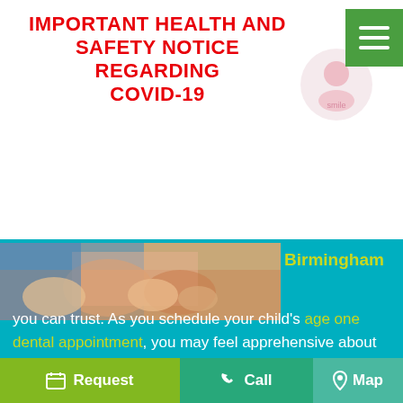IMPORTANT HEALTH AND SAFETY NOTICE REGARDING COVID-19
[Figure (photo): Child at dental appointment, hands visible being examined]
Birmingham you can trust. As you schedule your child's age one dental appointment, you may feel apprehensive about placing your little one in someone else's hands. However, we can assure you that their future smile will thank you for starting good oral habits early on. These initial visits will allow your child to become familiar with our dental office while we establish a baseline for their oral health. We will
Request   Call   Map